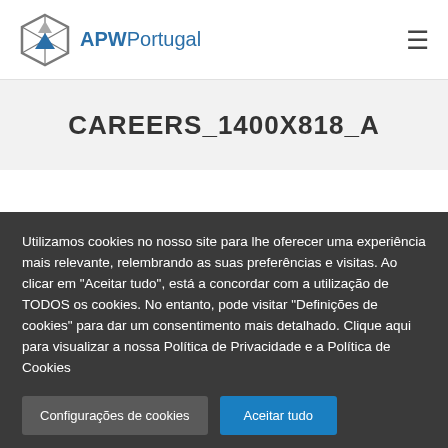[Figure (logo): APWPortugal logo with hexagonal icon and text]
CAREERS_1400X818_A
Utilizamos cookies no nosso site para lhe oferecer uma experiência mais relevante, relembrando as suas preferências e visitas. Ao clicar em "Aceitar tudo", está a concordar com a utilização de TODOS os cookies. No entanto, pode visitar "Definições de cookies" para dar um consentimento mais detalhado. Clique aqui para visualizar a nossa Política de Privacidade e a Política de Cookies
Configurações de cookies
Aceitar tudo